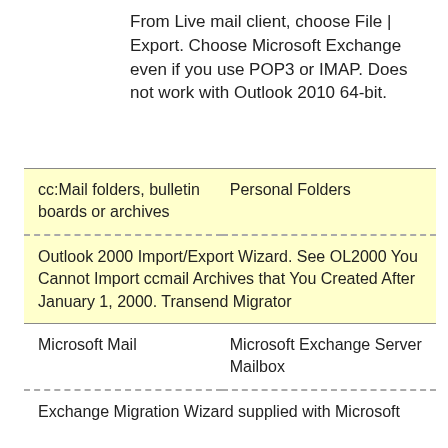From Live mail client, choose File | Export. Choose Microsoft Exchange even if you use POP3 or IMAP. Does not work with Outlook 2010 64-bit.
| cc:Mail folders, bulletin boards or archives | Personal Folders |
| Outlook 2000 Import/Export Wizard. See OL2000 You Cannot Import ccmail Archives that You Created After January 1, 2000. Transend Migrator |  |
| Microsoft Mail | Microsoft Exchange Server Mailbox |
| Exchange Migration Wizard supplied with Microsoft |  |